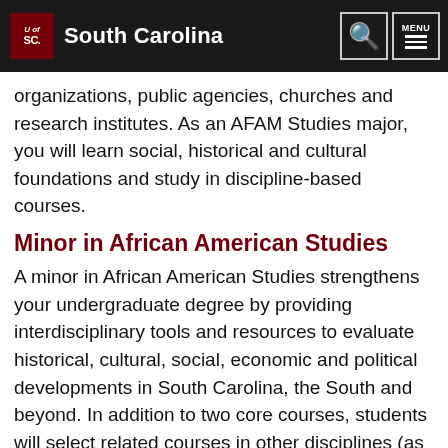South Carolina
organizations, public agencies, churches and research institutes. As an AFAM Studies major, you will learn social, historical and cultural foundations and study in discipline-based courses.
Minor in African American Studies
A minor in African American Studies strengthens your undergraduate degree by providing interdisciplinary tools and resources to evaluate historical, cultural, social, economic and political developments in South Carolina, the South and beyond. In addition to two core courses, students will select related courses in other disciplines (as approved by the program director and faculty advisors).